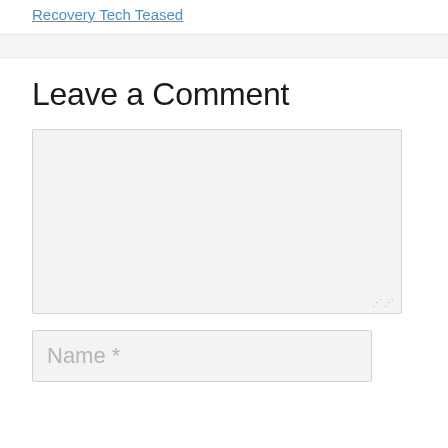Recovery Tech Teased
Leave a Comment
[Figure (other): Comment textarea form field, empty, with resize handle]
[Figure (other): Name input field with placeholder text 'Name *']